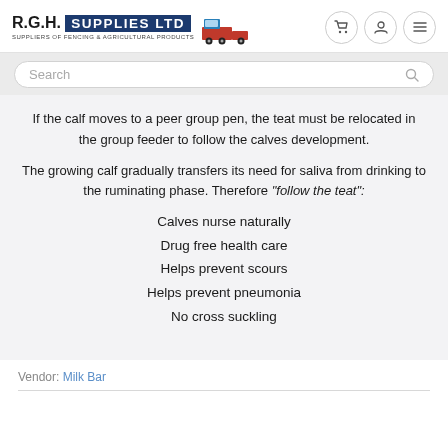R.G.H. SUPPLIES LTD — SUPPLIERS OF FENCING & AGRICULTURAL PRODUCTS
If the calf moves to a peer group pen, the teat must be relocated in the group feeder to follow the calves development.
The growing calf gradually transfers its need for saliva from drinking to the ruminating phase. Therefore "follow the teat":
Calves nurse naturally
Drug free health care
Helps prevent scours
Helps prevent pneumonia
No cross suckling
Vendor: Milk Bar